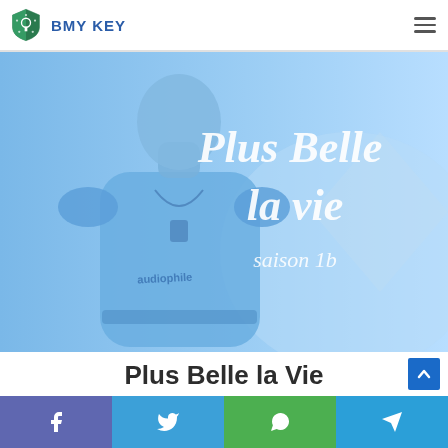BMY KEY
[Figure (photo): Promotional image for 'Plus Belle la Vie saison 16' showing a young man in a casual t-shirt with a blue color overlay and stylized title text]
Plus Belle la Vie
[Figure (infographic): Social sharing bar with Facebook, Twitter, WhatsApp, and Telegram icons]